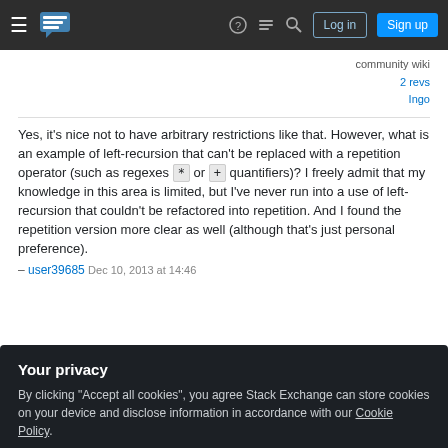Stack Exchange navigation bar with hamburger menu, logo, help, chat, search icons, Log in and Sign up buttons
community wiki
2 revs
Ingo
Yes, it's nice not to have arbitrary restrictions like that. However, what is an example of left-recursion that can't be replaced with a repetition operator (such as regexes * or + quantifiers)? I freely admit that my knowledge in this area is limited, but I've never run into a use of left-recursion that couldn't be refactored into repetition. And I found the repetition version more clear as well (although that's just personal preference).
– user39685 Dec 10, 2013 at 14:46
Your privacy
By clicking "Accept all cookies", you agree Stack Exchange can store cookies on your device and disclose information in accordance with our Cookie Policy.
Accept all cookies   Customize settings
Thank you for the response. I think I understand better